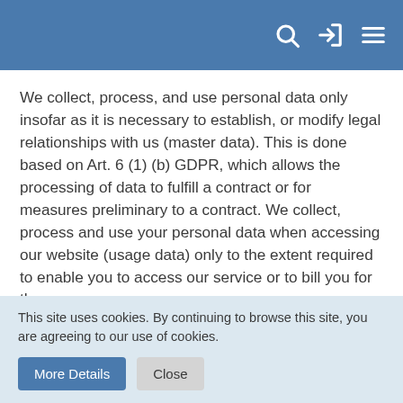[Navigation bar with search, login, and menu icons]
We collect, process, and use personal data only insofar as it is necessary to establish, or modify legal relationships with us (master data). This is done based on Art. 6 (1) (b) GDPR, which allows the processing of data to fulfill a contract or for measures preliminary to a contract. We collect, process and use your personal data when accessing our website (usage data) only to the extent required to enable you to access our service or to bill you for the same.
Collected customer data shall be deleted after completion of the order or termination of the business relationship. Legal retention periods remain unaffected.
Data transferred when signing up for services and
This site uses cookies. By continuing to browse this site, you are agreeing to our use of cookies.